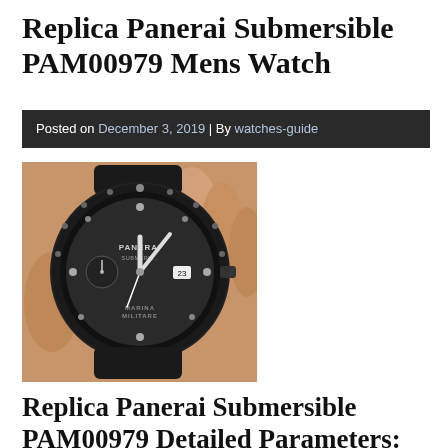Replica Panerai Submersible PAM00979 Mens Watch
Posted on December 3, 2019 | By watches-guide
[Figure (photo): A hand holding a Panerai Submersible PAM00979 watch with black carbon case and rubber strap, showing dark dial with Marina Militare text, luminous hands, and date at 3 o'clock.]
Replica Panerai Submersible PAM00979 Detailed Parameters: